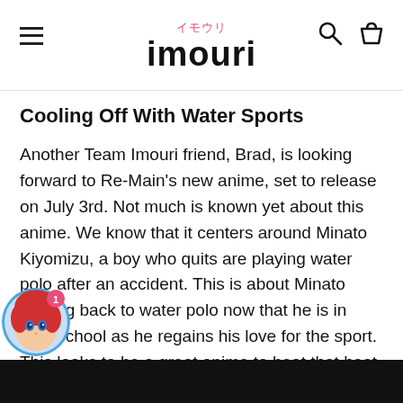imouri
Cooling Off With Water Sports
Another Team Imouri friend, Brad, is looking forward to Re-Main's new anime, set to release on July 3rd. Not much is known yet about this anime. We know that it centers around Minato Kiyomizu, a boy who quits are playing water polo after an accident. This is about Minato coming back to water polo now that he is in high school as he regains his love for the sport. This looks to be a great anime to beat that heat, and plus, who doesn't love an awesome sports anime.
[Figure (illustration): Circular avatar of an anime character with red hair and blue eyes, with a blue circular border and a pink badge showing '1'.]